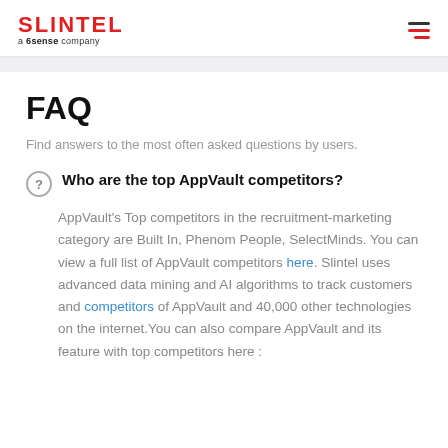SLINTEL a 6sense company
FAQ
Find answers to the most often asked questions by users.
Who are the top AppVault competitors?
AppVault's Top competitors in the recruitment-marketing category are Built In, Phenom People, SelectMinds. You can view a full list of AppVault competitors here. Slintel uses advanced data mining and AI algorithms to track customers and competitors of AppVault and 40,000 other technologies on the internet.You can also compare AppVault and its feature with top competitors here :